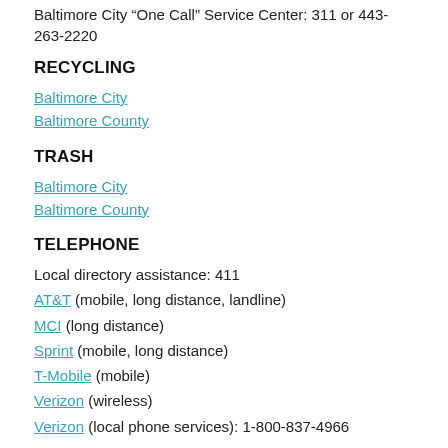Baltimore City “One Call” Service Center: 311 or 443-263-2220
RECYCLING
Baltimore City
Baltimore County
TRASH
Baltimore City
Baltimore County
TELEPHONE
Local directory assistance: 411
AT&T (mobile, long distance, landline)
MCI (long distance)
Sprint (mobile, long distance)
T-Mobile (mobile)
Verizon (wireless)
Verizon (local phone services): 1-800-837-4966